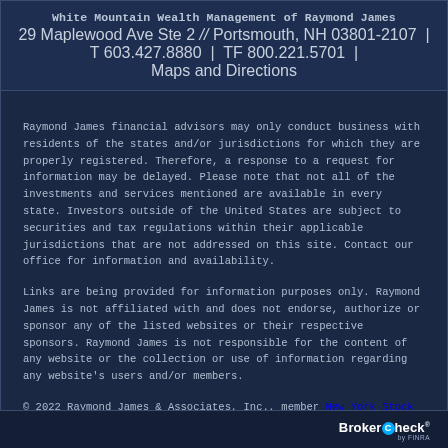White Mountain Wealth Management of Raymond James
29 Maplewood Ave Ste 2 // Portsmouth, NH 03801-2107
T 603.427.8880  |  TF 800.221.5701  |
Maps and Directions
Raymond James financial advisors may only conduct business with residents of the states and/or jurisdictions for which they are properly registered. Therefore, a response to a request for information may be delayed. Please note that not all of the investments and services mentioned are available in every state. Investors outside of the United States are subject to securities and tax regulations within their applicable jurisdictions that are not addressed on this site. Contact our office for information and availability.
Links are being provided for information purposes only. Raymond James is not affiliated with and does not endorse, authorize or sponsor any of the listed websites or their respective sponsors. Raymond James is not responsible for the content of any website or the collection or use of information regarding any website's users and/or members.
© 2022 Raymond James & Associates, Inc., member New York Stock Exchange / SIPC  |  Legal Disclosures  |  Privacy, Security & Account Protection  |  Terms of Use
BrokerCheck by FINRA